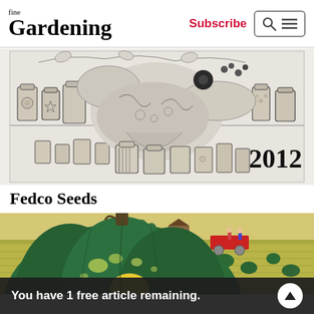fine Gardening — Subscribe
[Figure (illustration): Black and white pen-and-ink illustration of a seed catalog cover showing jars, vegetables, and decorative elements with '2012' text visible]
Fedco Seeds
[Figure (illustration): Color illustration of a large green pumpkin in foreground with a farm field scene and workers in the background]
You have 1 free article remaining.